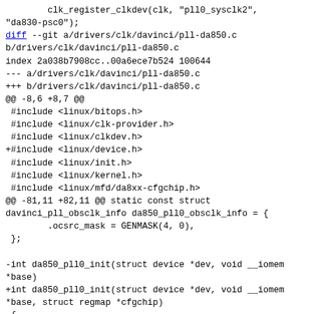clk_register_clkdev(clk, "pll0_sysclk2", "da830-psc0");
diff --git a/drivers/clk/davinci/pll-da850.c b/drivers/clk/davinci/pll-da850.c
index 2a038b7908cc..00a6ece7b524 100644
--- a/drivers/clk/davinci/pll-da850.c
+++ b/drivers/clk/davinci/pll-da850.c
@@ -8,6 +8,7 @@
 #include <linux/bitops.h>
 #include <linux/clk-provider.h>
 #include <linux/clkdev.h>
+#include <linux/device.h>
 #include <linux/init.h>
 #include <linux/kernel.h>
 #include <linux/mfd/da8xx-cfgchip.h>
@@ -81,11 +82,11 @@ static const struct davinci_pll_obsclk_info da850_pll0_obsclk_info = {
        .ocsrc_mask = GENMASK(4, 0),
 };

-int da850_pll0_init(struct device *dev, void __iomem *base)
+int da850_pll0_init(struct device *dev, void __iomem *base, struct regmap *cfgchip)
 {
        struct clk *clk;

-       davinci_pll_clk_register(dev, &da850_pll0_info, "ref_clk", base);
+       davinci_pll_clk_register(dev, &da850_pll0_info,